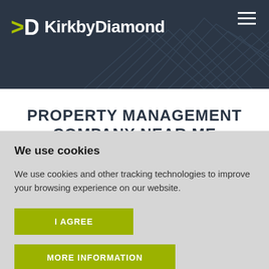KirkbyDiamond
PROPERTY MANAGEMENT COMPANY NEAR ME
We use cookies
We use cookies and other tracking technologies to improve your browsing experience on our website.
I AGREE
MORE INFORMATION